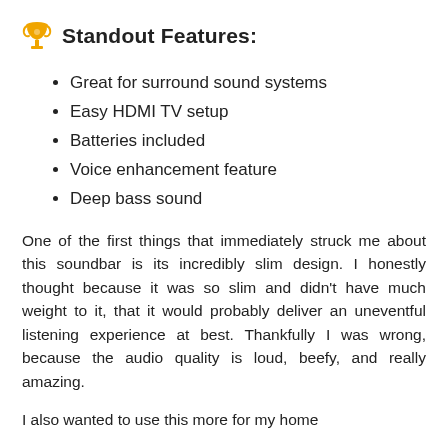Standout Features:
Great for surround sound systems
Easy HDMI TV setup
Batteries included
Voice enhancement feature
Deep bass sound
One of the first things that immediately struck me about this soundbar is its incredibly slim design. I honestly thought because it was so slim and didn't have much weight to it, that it would probably deliver an uneventful listening experience at best. Thankfully I was wrong, because the audio quality is loud, beefy, and really amazing.
I also wanted to use this more for my home